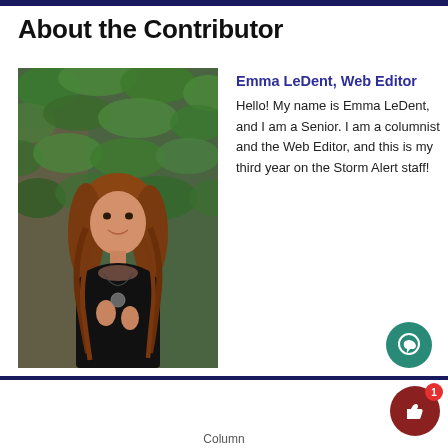About the Contributor
[Figure (photo): Young woman with long auburn wavy hair, wearing a black tank top, smiling, standing in front of a green ivy-covered brick wall.]
Emma LeDent, Web Editor
Hello! My name is Emma LeDent, and I am a Senior. I am a columnist and the Web Editor, and this is my third year on the Storm Alert staff!
Column